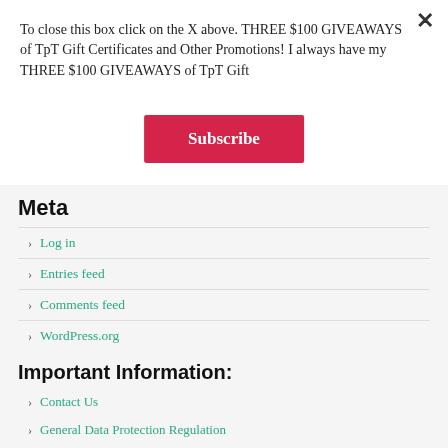To close this box click on the X above. THREE $100 GIVEAWAYS of TpT Gift Certificates and Other Promotions! I always have my THREE $100 GIVEAWAYS of TpT Gift
Subscribe
Meta
Log in
Entries feed
Comments feed
WordPress.org
Important Information:
Contact Us
General Data Protection Regulation
Please note The Best of Teacher Entrepreneurs Marketing Cooperative was created by Victoria Leon and is not sponsored